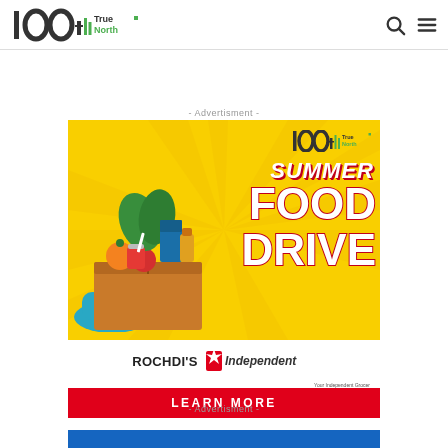100 True North
- Advertisment -
[Figure (illustration): Summer Food Drive advertisement banner for Rochdi's Independent Grocers, featuring illustrated grocery items in a box, with 'SUMMER FOOD DRIVE' text, the True North 100 logo, store branding, and a red 'LEARN MORE' call-to-action button on a yellow sunray background.]
- Advertisment -